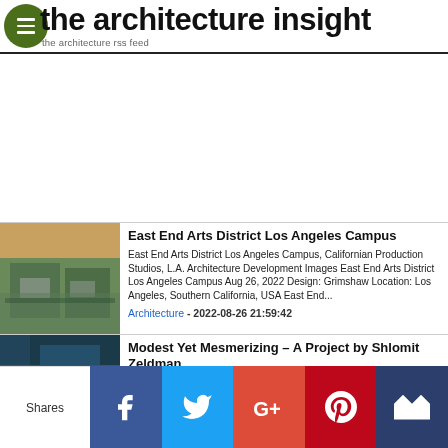the architecture insight
the architecture rss feed
[Figure (photo): East End Arts District Los Angeles Campus building photo]
East End Arts District Los Angeles Campus
East End Arts District Los Angeles Campus, Californian Production Studios, L.A. Architecture Development Images East End Arts District Los Angeles Campus Aug 26, 2022 Design: Grimshaw Location: Los Angeles, Southern California, USA East End...
Architecture - 2022-08-26 21:59:42
[Figure (photo): Modest Yet Mesmerizing interior photo by Shlomit Zeldman]
Modest Yet Mesmerizing – A Project by Shlomit Zeldman
This property modest yet mesmerizing, a vibrant and lively home of five, belongs to a hi-tech professional couple and their three grown children. Continue reading...
Shares